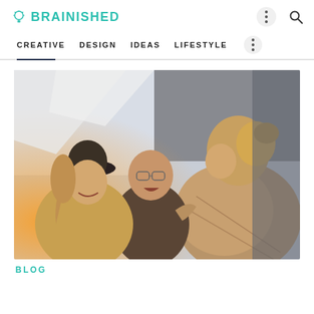BRAINISHED
CREATIVE   DESIGN   IDEAS   LIFESTYLE
[Figure (photo): Three young women laughing and socializing outdoors, one wearing a black hat, photographed from behind in warm sunlight]
BLOG